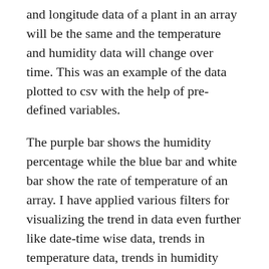and longitude data of a plant in an array will be the same and the temperature and humidity data will change over time. This was an example of the data plotted to csv with the help of pre-defined variables.
The purple bar shows the humidity percentage while the blue bar and white bar show the rate of temperature of an array. I have applied various filters for visualizing the trend in data even further like date-time wise data, trends in temperature data, trends in humidity data which can be viewed on the left bar.
To find the diseases in the Apple plant, Image processing and Classification is used. Sun light and angle of Image capture is the main factor which